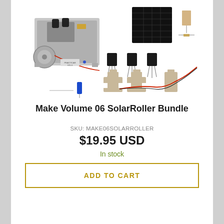[Figure (photo): Product photo showing a Make Volume 06 SolarRoller Bundle with electronic components including a CD drive mechanism, solar panel, transistors, sensors, capacitor, and wired connector on a white background.]
Make Volume 06 SolarRoller Bundle
SKU: MAKE06SOLARROLLER
$19.95 USD
In stock
ADD TO CART